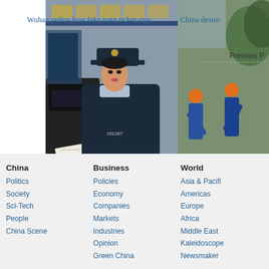[Figure (photo): A female Chinese police officer wearing a dark uniform and white gloves, scanning or processing a document at a machine, in a police office setting with plaques on the wall.]
Wuhan police bust fake train ticket ring
[Figure (photo): Workers in blue uniforms and hard hats handling large ivory tusks, stacked on the ground outdoors.]
China destro
Previous R
China
Politics
Society
Sci-Tech
People
China Scene
Business
Policies
Economy
Companies
Markets
Industries
Opinion
Green China
World
Asia & Pacifi
Americas
Europe
Africa
Middle East
Kaleidoscope
Newsmaker